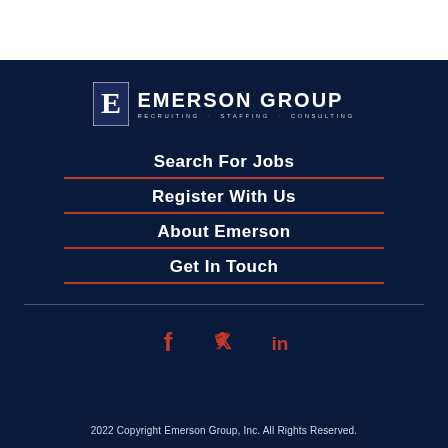[Figure (logo): Emerson Group logo with stylized E icon and text 'EMERSON GROUP — Recruiting · Staffing · Consulting']
Search For Jobs
Register With Us
About Emerson
Get In Touch
[Figure (illustration): Social media icons: Facebook, Twitter, LinkedIn in red]
2022 Copyright Emerson Group, Inc. All Rights Reserved.